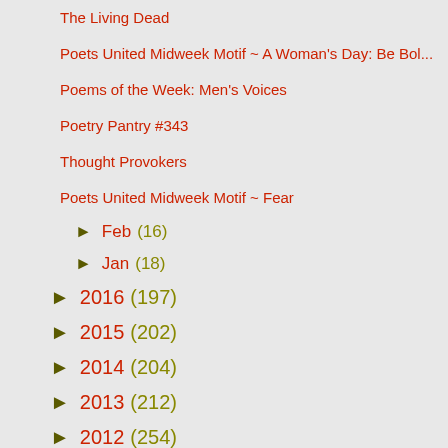The Living Dead
Poets United Midweek Motif ~ A Woman's Day: Be Bol...
Poems of the Week: Men's Voices
Poetry Pantry #343
Thought Provokers
Poets United Midweek Motif ~ Fear
Feb (16)
Jan (18)
2016 (197)
2015 (202)
2014 (204)
2013 (212)
2012 (254)
2011 (281)
2010 (183)